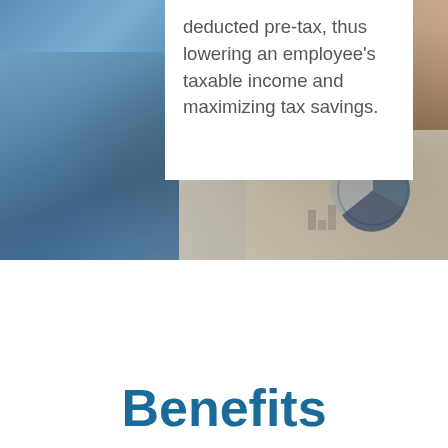[Figure (photo): Blurred background photo of people at a desk reviewing financial documents with charts, with hands visible holding papers and a pen.]
deducted pre-tax, thus lowering an employee's taxable income and maximizing tax savings.
Benefits